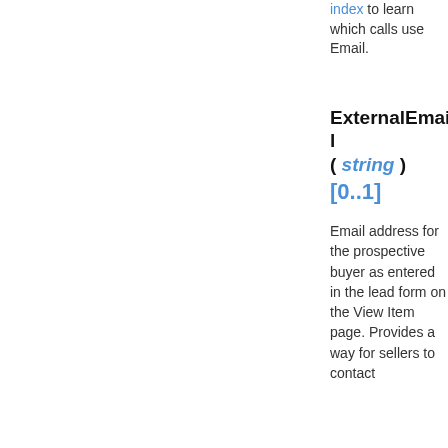index to learn which calls use Email.
ExternalEmail ( string ) [0..1]
Email address for the prospective buyer as entered in the lead form on the View Item page. Provides a way for sellers to contact